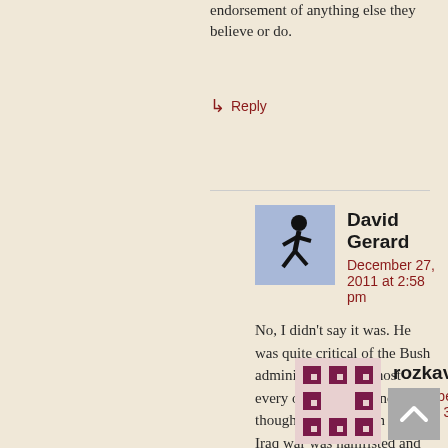endorsement of anything else they believe or do.
↳ Reply
David Gerard
December 27, 2011 at 2:58 pm
No, I didn't say it was. He was quite critical of the Bush administration in almost every other respect and thought the execution of the Iraq war was hamfisted and incompetent. (He still thought Iraq was better for it having happened.)
↳ Reply
rozkaveney
December 27, 2011 at 3:56 pm